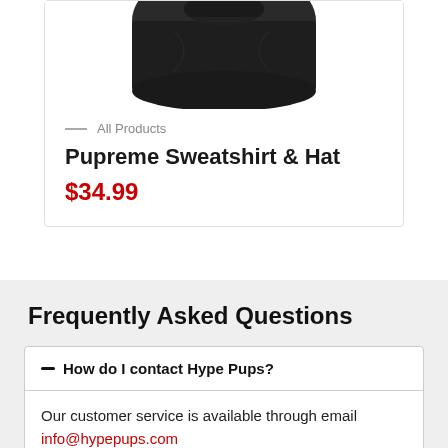[Figure (photo): Dark colored dog sweatshirt and hat product photo, bottom portion visible against white background]
— All Products
Pupreme Sweatshirt & Hat
$34.99
Frequently Asked Questions
— How do I contact Hype Pups?
Our customer service is available through email info@hypepups.com